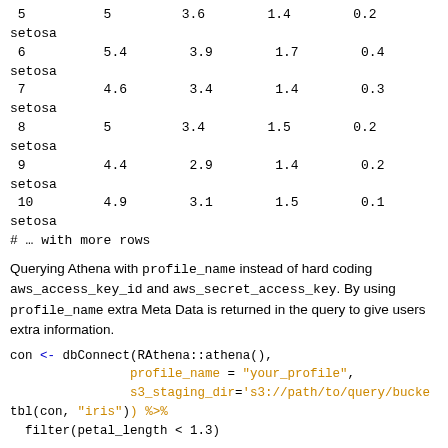|  | sepal_length | sepal_width | petal_length | petal_width | species |
| --- | --- | --- | --- | --- | --- |
| 5 | 5 | 3.6 | 1.4 | 0.2 | setosa |
| 6 | 5.4 | 3.9 | 1.7 | 0.4 | setosa |
| 7 | 4.6 | 3.4 | 1.4 | 0.3 | setosa |
| 8 | 5 | 3.4 | 1.5 | 0.2 | setosa |
| 9 | 4.4 | 2.9 | 1.4 | 0.2 | setosa |
| 10 | 4.9 | 3.1 | 1.5 | 0.1 | setosa |
| # … with more rows |  |  |  |  |  |
Querying Athena with profile_name instead of hard coding aws_access_key_id and aws_secret_access_key. By using profile_name extra Meta Data is returned in the query to give users extra information.
con <- dbConnect(RAthena::athena(),
                profile_name = "your_profile",
                s3_staging_dir='s3://path/to/query/bucket
tbl(con, "iris") %>%
  filter(petal_length < 1.3)
# Source:   lazy query [?? x 5]
# Database: Athena 1.9.210 [your_profile@eu-west-1/default]